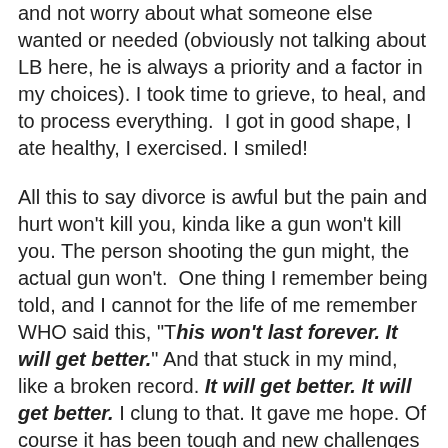and not worry about what someone else wanted or needed (obviously not talking about LB here, he is always a priority and a factor in my choices). I took time to grieve, to heal, and to process everything.  I got in good shape, I ate healthy, I exercised. I smiled!
All this to say divorce is awful but the pain and hurt won't kill you, kinda like a gun won't kill you. The person shooting the gun might, the actual gun won't.  One thing I remember being told, and I cannot for the life of me remember WHO said this, "This won't last forever. It will get better." And that stuck in my mind, like a broken record. It will get better. It will get better. I clung to that. It gave me hope. Of course it has been tough and new challenges arise, but it has gotten better. I am stronger and happier. I have worked very hard, I have put in many hours of my own therapy to work through this and to do identify my role in the dissolution of the marriage, because as much as I would love to poke a finger and place blame, I must also take responsibility for my part. The self-work I have done has been an important part of letting go...not holding the anger and resentment. One thing I realized is that in the end I am glad my husband moved out. I